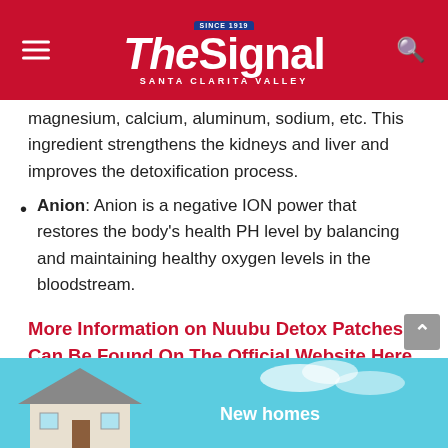The Signal – Santa Clarita Valley
magnesium, calcium, aluminum, sodium, etc. This ingredient strengthens the kidneys and liver and improves the detoxification process.
Anion: Anion is a negative ION power that restores the body's health PH level by balancing and maintaining healthy oxygen levels in the bloodstream.
More Information on Nuubu Detox Patches Can Be Found On The Official Website Here
[Figure (photo): Advertisement image showing a house under blue sky with text 'New homes']